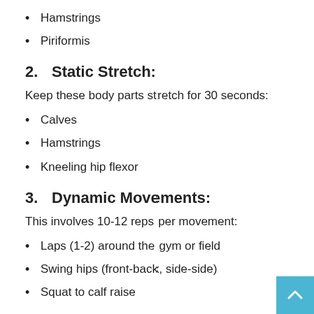Hamstrings
Piriformis
2.    Static Stretch:
Keep these body parts stretch for 30 seconds:
Calves
Hamstrings
Kneeling hip flexor
3.    Dynamic Movements:
This involves 10-12 reps per movement:
Laps (1-2) around the gym or field
Swing hips (front-back, side-side)
Squat to calf raise